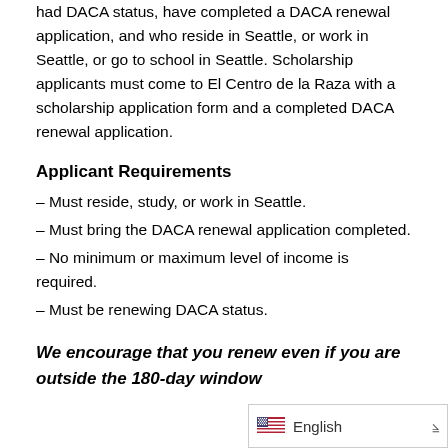had DACA status, have completed a DACA renewal application, and who reside in Seattle, or work in Seattle, or go to school in Seattle. Scholarship applicants must come to El Centro de la Raza with a scholarship application form and a completed DACA renewal application.
Applicant Requirements
– Must reside, study, or work in Seattle.
– Must bring the DACA renewal application completed.
– No minimum or maximum level of income is required.
– Must be renewing DACA status.
We encourage that you renew even if you are outside the 180-day window